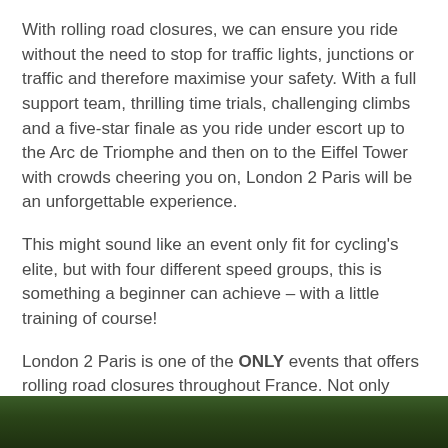With rolling road closures, we can ensure you ride without the need to stop for traffic lights, junctions or traffic and therefore maximise your safety. With a full support team, thrilling time trials, challenging climbs and a five-star finale as you ride under escort up to the Arc de Triomphe and then on to the Eiffel Tower with crowds cheering you on, London 2 Paris will be an unforgettable experience.
This might sound like an event only fit for cycling's elite, but with four different speed groups, this is something a beginner can achieve – with a little training of course!
London 2 Paris is one of the ONLY events that offers rolling road closures throughout France. Not only does this help ensure your safety but it also gives you the freedom to test yourself with time trials and timed hill climbs to find out where you rank against the rest of the riders.
[Figure (photo): Dark green foliage / trees, partially visible at the bottom of the page]